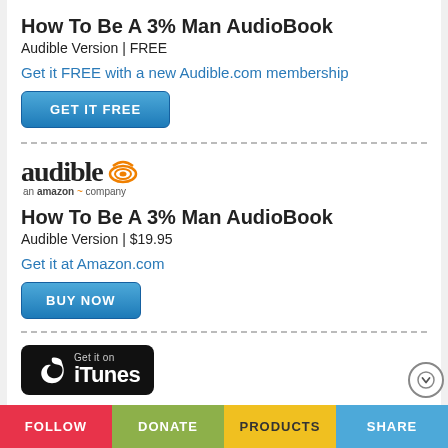How To Be A 3% Man AudioBook
Audible Version | FREE
Get it FREE with a new Audible.com membership
[Figure (other): GET IT FREE button - blue gradient rounded rectangle button with white uppercase text]
[Figure (logo): Audible logo - wordmark in serif font with orange wireless signal icon, tagline 'an amazon company' with orange smile]
How To Be A 3% Man AudioBook
Audible Version | $19.95
Get it at Amazon.com
[Figure (other): BUY NOW button - blue gradient rounded rectangle button with white uppercase text]
[Figure (logo): Get it on iTunes badge - black rounded rectangle with Apple logo and iTunes text in white]
How To Be A 3% Man AudioBook
iTunes Version | $19.95
FOLLOW  DONATE  PRODUCTS  SHARE